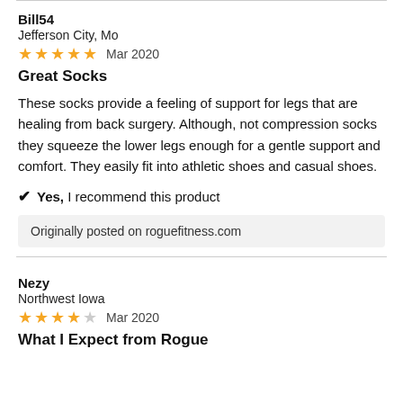Bill54
Jefferson City, Mo
★★★★★  Mar 2020
Great Socks
These socks provide a feeling of support for legs that are healing from back surgery. Although, not compression socks they squeeze the lower legs enough for a gentle support and comfort. They easily fit into athletic shoes and casual shoes.
✔ Yes, I recommend this product
Originally posted on roguefitness.com
Nezy
Northwest Iowa
★★★★☆  Mar 2020
What I Expect from Rogue